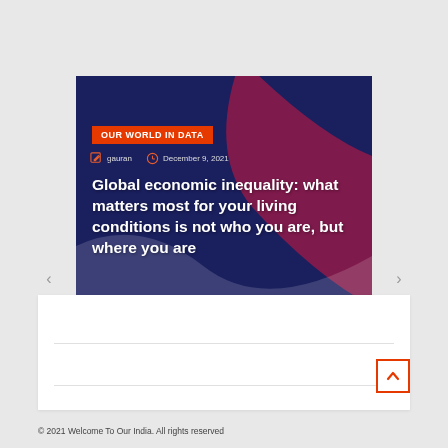[Figure (screenshot): Website banner/slider from 'Our World In Data' showing article titled 'Global economic inequality: what matters most for your living conditions is not who you are, but where you are'. Authors: gauran, Date: December 9, 2021. Dark navy blue background with decorative magenta/purple curved shapes.]
© 2021 Welcome To Our India. All rights reserved